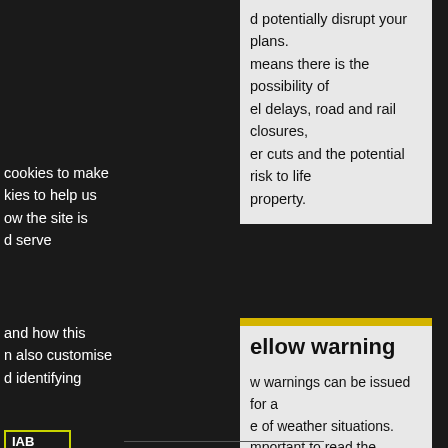d potentially disrupt your plans. means there is the possibility of el delays, road and rail closures, er cuts and the potential risk to life property.
cookies to make kies to help us ow the site is d serve
and how this n also customise d identifying
IAB
TCF).
es select ences at any
ellow warning
w warnings can be issued for a e of weather situations. mportant to read the content of w warnings to determine which ther situation is being covered by the ning.